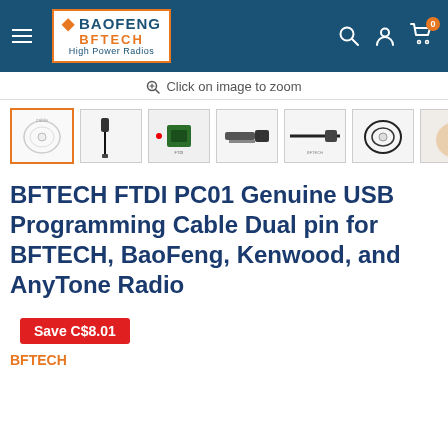[Figure (screenshot): Baofeng BFTECH website navigation bar with hamburger menu, logo, and icons for search, account, and cart showing 0 items]
Click on image to zoom
[Figure (photo): Thumbnail strip showing 7 product images of USB programming cable: coiled white cable, cable with connectors, chip view, plug detail, cable detail, black coiled cable, and partial hand image]
BFTECH FTDI PC01 Genuine USB Programming Cable Dual pin for BFTECH, BaoFeng, Kenwood, and AnyTone Radio
Save C$8.01
BFTECH